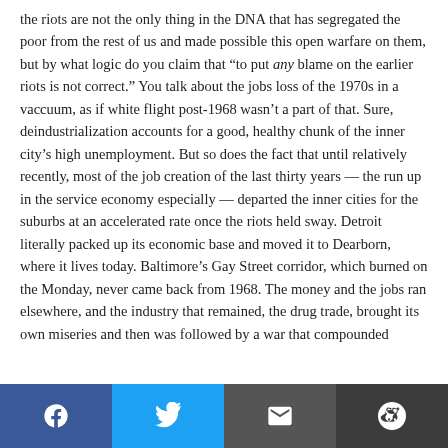the riots are not the only thing in the DNA that has segregated the poor from the rest of us and made possible this open warfare on them, but by what logic do you claim that “to put any blame on the earlier riots is not correct.” You talk about the jobs loss of the 1970s in a vaccuum, as if white flight post-1968 wasn’t a part of that. Sure, deindustrialization accounts for a good, healthy chunk of the inner city’s high unemployment. But so does the fact that until relatively recently, most of the job creation of the last thirty years — the run up in the service economy especially — departed the inner cities for the suburbs at an accelerated rate once the riots held sway. Detroit literally packed up its economic base and moved it to Dearborn, where it lives today. Baltimore’s Gay Street corridor, which burned on the Monday, never came back from 1968. The money and the jobs ran elsewhere, and the industry that remained, the drug trade, brought its own miseries and then was followed by a war that compounded
[Figure (other): Social sharing bar with Facebook, Twitter, Email, and Reddit buttons]